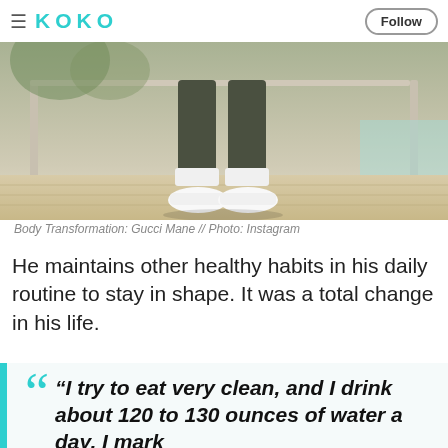≡ KOKO  Follow
[Figure (photo): Photo of lower body/legs of a person wearing dark olive/khaki pants and white sneakers, standing on a wooden deck near a pool area with railings and greenery visible in background.]
Body Transformation: Gucci Mane // Photo: Instagram
He maintains other healthy habits in his daily routine to stay in shape. It was a total change in his life.
“I try to eat very clean, and I drink about 120 to 130 ounces of water a day. I mark